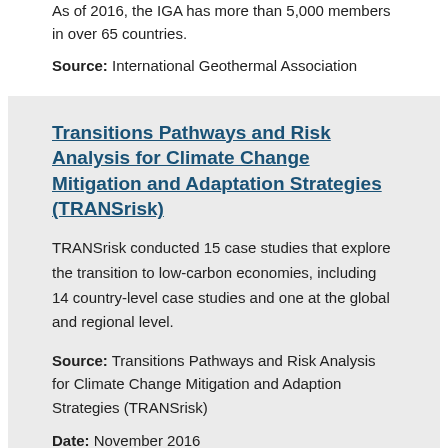As of 2016, the IGA has more than 5,000 members in over 65 countries.
Source: International Geothermal Association
Transitions Pathways and Risk Analysis for Climate Change Mitigation and Adaptation Strategies (TRANSrisk)
TRANSrisk conducted 15 case studies that explore the transition to low-carbon economies, including 14 country-level case studies and one at the global and regional level.
Source: Transitions Pathways and Risk Analysis for Climate Change Mitigation and Adaption Strategies (TRANSrisk)
Date: November 2016